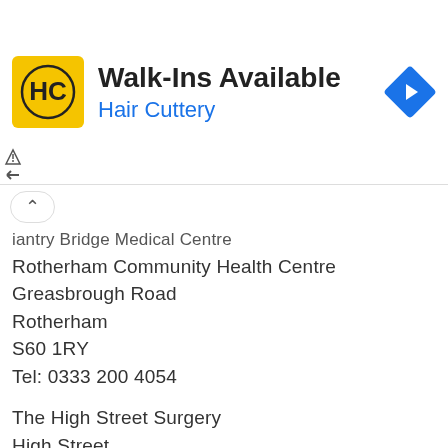[Figure (advertisement): Hair Cuttery advertisement banner with yellow logo, 'Walk-Ins Available' headline, blue 'Hair Cuttery' subtext, and blue diamond navigation icon]
iantry Bridge Medical Centre
Rotherham Community Health Centre
Greasbrough Road
Rotherham
S60 1RY
Tel: 0333 200 4054
The High Street Surgery
High Street
Rawmarsh
Rotherham
South Yorkshire
S62 6LN
Tel: 0845 121 9954